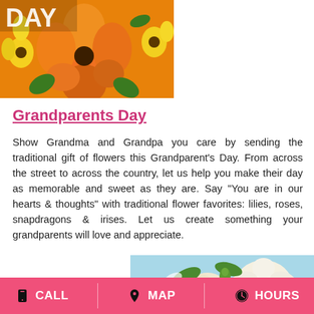[Figure (photo): Close-up photo of orange and yellow flowers (dahlias, sunflowers, lilies) with a white text overlay partially reading 'DAY' — a Grandparents Day floral arrangement]
Grandparents Day
Show Grandma and Grandpa you care by sending the traditional gift of flowers this Grandparent's Day. From across the street to across the country, let us help you make their day as memorable and sweet as they are. Say "You are in our hearts & thoughts" with traditional flower favorites: lilies, roses, snapdragons & irises. Let us create something your grandparents will love and appreciate.
[Figure (photo): Close-up photo of white roses and green flower buds, Grandparents Day floral bouquet]
CALL   MAP   HOURS